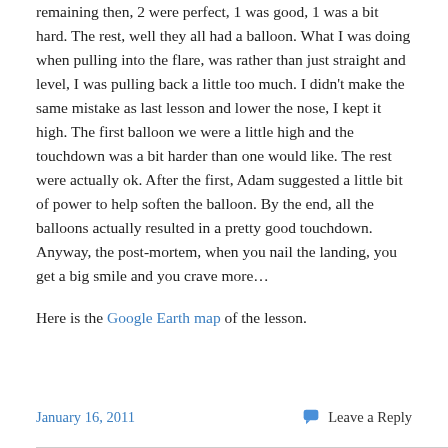remaining then, 2 were perfect, 1 was good, 1 was a bit hard.  The rest, well they all had a balloon.   What I was doing when pulling into the flare, was rather than just straight and level, I was pulling back a little too much.  I didn't make the same mistake as last lesson and lower the nose, I kept it high.  The first balloon we were a little high and the touchdown was a bit harder than one would like.  The rest were actually ok.  After the first, Adam suggested a little bit of power to help soften the balloon.  By the end, all the balloons actually resulted in a pretty good touchdown.   Anyway, the post-mortem, when you nail the landing, you get a big smile and you crave more…

Here is the Google Earth map of the lesson.
January 16, 2011   Leave a Reply